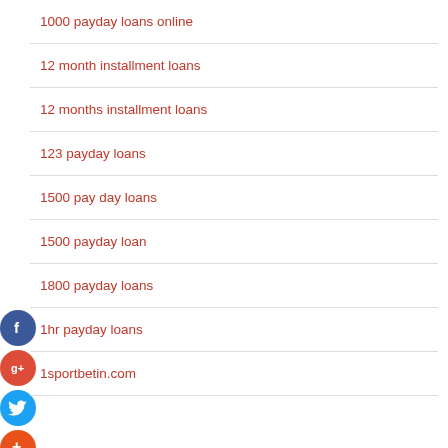1000 payday loans online
12 month installment loans
12 months installment loans
123 payday loans
1500 pay day loans
1500 payday loan
1800 payday loans
1hr payday loans
1sportbetin.com